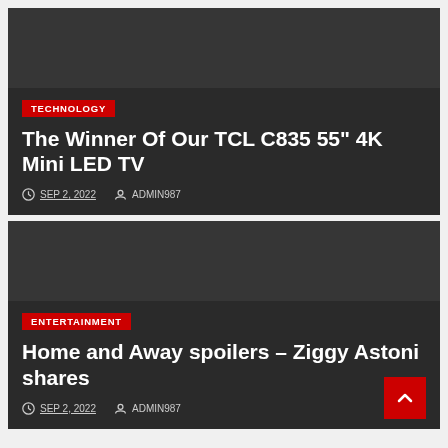[Figure (other): Dark grey card background image area for technology article]
TECHNOLOGY
The Winner Of Our TCL C835 55" 4K Mini LED TV
SEP 2, 2022  ADMIN987
[Figure (other): Dark grey card background image area for entertainment article]
ENTERTAINMENT
Home and Away spoilers – Ziggy Astoni shares
SEP 2, 2022  ADMIN987